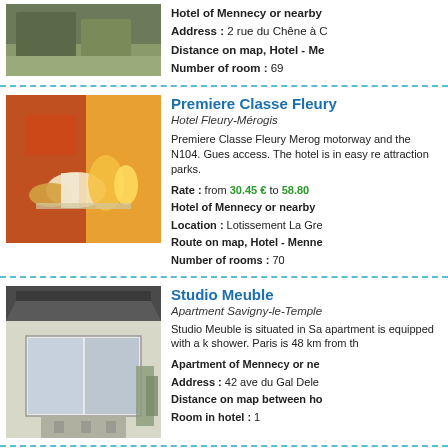[Figure (photo): Exterior photo of hotel building with road and trees]
Hotel of Mennecy or nearby
Address : 2 rue du Chêne à C
Distance on map, Hotel - Me
Number of room : 69
[Figure (photo): Breakfast tray with bread, orange juice, coffee cup at Premiere Classe Fleury]
Premiere Classe Fleury
Hotel Fleury-Mérogis

Premiere Classe Fleury Merog motorway and the N104. Gues access. The hotel is in easy re attraction parks.

Rate : from 30.45 € to 58.80
Hotel of Mennecy or nearby
Location : Lotissement La Gre
Route on map, Hotel - Menne
Number of rooms : 70
[Figure (photo): Exterior photo of Studio Meuble apartment building with garage door and stone paving]
Studio Meuble
Apartment Savigny-le-Temple

Studio Meuble is situated in Sa apartment is equipped with a k shower. Paris is 48 km from th

Apartment of Mennecy or ne
Address : 42 ave du Gal Dele
Distance on map between ho
Room in hotel : 1